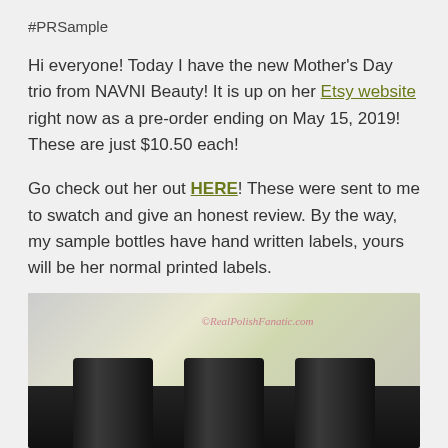#PRSample
Hi everyone! Today I have the new Mother's Day trio from NAVNI Beauty! It is up on her Etsy website right now as a pre-order ending on May 15, 2019! These are just $10.50 each!
Go check out her out HERE! These were sent to me to swatch and give an honest review. By the way, my sample bottles have hand written labels, yours will be her normal printed labels.
[Figure (photo): Three dark nail polish bottles with black caps shown from above against a blurred light background. Watermark reads ©RealPolishFanatic.com]